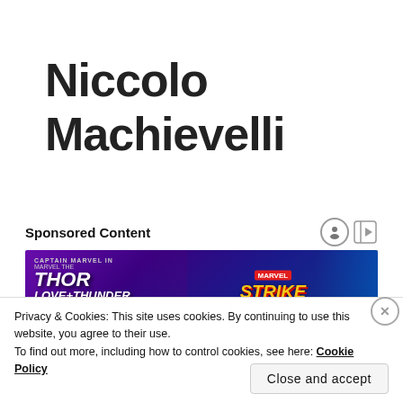Niccolo Machievelli
Sponsored Content
[Figure (photo): Marvel Strike Force advertisement banner featuring Thor Love and Thunder characters with glowing blue energy effects on a purple/blue background]
Privacy & Cookies: This site uses cookies. By continuing to use this website, you agree to their use.
To find out more, including how to control cookies, see here: Cookie Policy
Close and accept